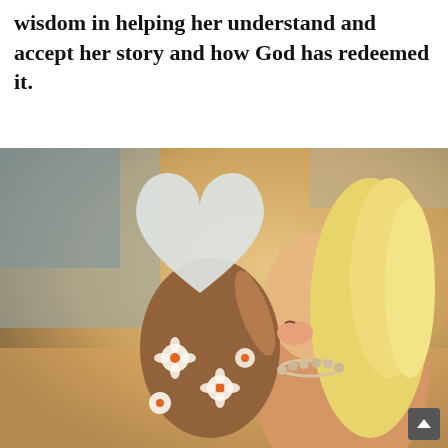wisdom in helping her understand and accept her story and how God has redeemed it.
[Figure (photo): A blonde woman kissing a young child whose face is obscured by a white heart shape. The child is wearing a brown outfit with white and orange flower print. The woman is wearing a beaded necklace. The scene is indoors with warm ambient lighting.]